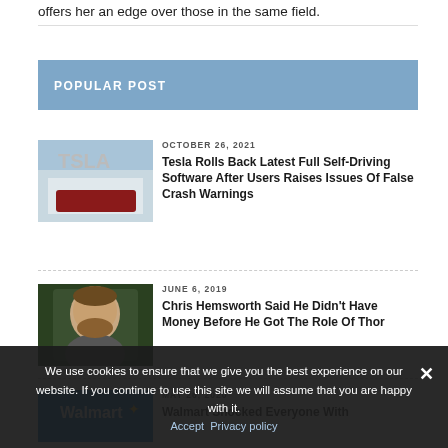offers her an edge over those in the same field.
POPULAR POST
[Figure (photo): Tesla building exterior with red Tesla car parked outside]
OCTOBER 26, 2021
Tesla Rolls Back Latest Full Self-Driving Software After Users Raises Issues Of False Crash Warnings
[Figure (photo): Chris Hemsworth portrait headshot with green background]
JUNE 6, 2019
Chris Hemsworth Said He Didn't Have Money Before He Got The Role Of Thor
[Figure (photo): Walmart logo sign]
MAY 26, 2020
Walmart Shocked Everyone With
We use cookies to ensure that we give you the best experience on our website. If you continue to use this site we will assume that you are happy with it.